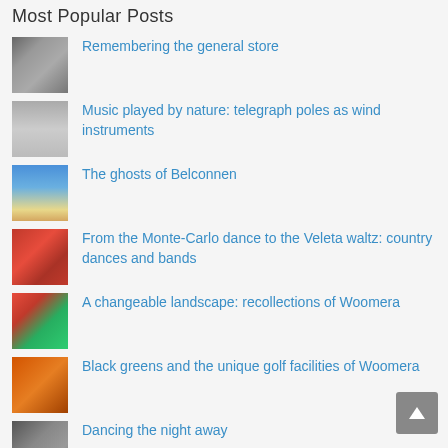Most Popular Posts
Remembering the general store
Music played by nature: telegraph poles as wind instruments
The ghosts of Belconnen
From the Monte-Carlo dance to the Veleta waltz: country dances and bands
A changeable landscape: recollections of Woomera
Black greens and the unique golf facilities of Woomera
Dancing the night away
How to make an excellent oral history